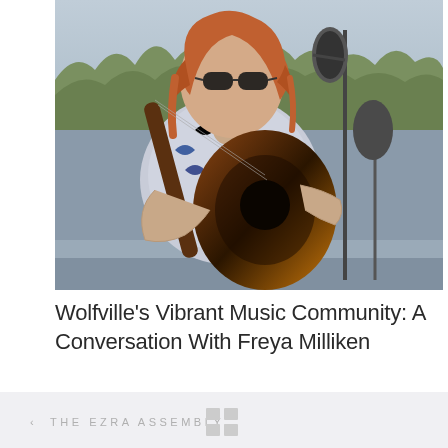[Figure (photo): A woman with red hair wearing sunglasses and a floral shirt playing an acoustic guitar into a microphone outdoors on a rooftop, with trees and sky in the background.]
Wolfville's Vibrant Music Community: A Conversation With Freya Milliken
< THE EZRA ASSEMBLY.
[Figure (other): Grid/dots icon at bottom center]